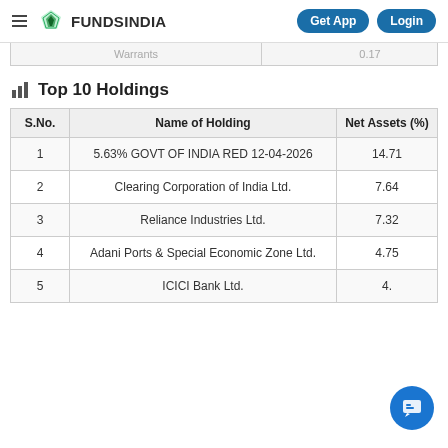FundsIndia — Get App | Login
|  | Warrants | 0.17 |
| --- | --- | --- |
Top 10 Holdings
| S.No. | Name of Holding | Net Assets (%) |
| --- | --- | --- |
| 1 | 5.63% GOVT OF INDIA RED 12-04-2026 | 14.71 |
| 2 | Clearing Corporation of India Ltd. | 7.64 |
| 3 | Reliance Industries Ltd. | 7.32 |
| 4 | Adani Ports & Special Economic Zone Ltd. | 4.75 |
| 5 | ICICI Bank Ltd. | 4. |